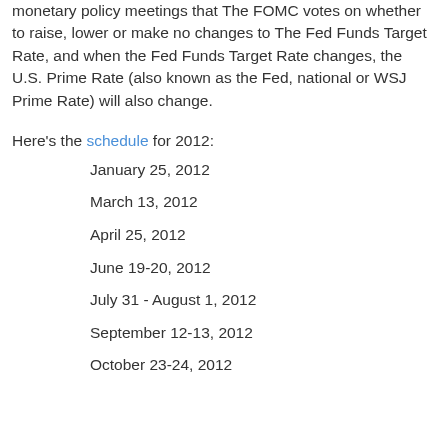Why is this schedule important to you? Because it's at these monetary policy meetings that The FOMC votes on whether to raise, lower or make no changes to The Fed Funds Target Rate, and when the Fed Funds Target Rate changes, the U.S. Prime Rate (also known as the Fed, national or WSJ Prime Rate) will also change.
Here's the schedule for 2012:
January 25, 2012
March 13, 2012
April 25, 2012
June 19-20, 2012
July 31 - August 1, 2012
September 12-13, 2012
October 23-24, 2012